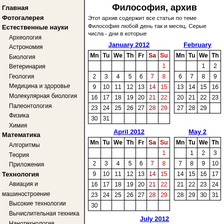Главная
Фотогалерея
Естественные науки
Археология
Астрономия
Биология
Ветеринария
Геология
Медицина и здоровье
Молекулярная биология
Палеонтология
Физика
Химия
Математика
Алгоритмы
Теория
Приложения
Технология
Авиация и машиностроение
Высокие технологии
Вычислительная техника
Нанотехнология
Философия, архив
Этот архив содержит все статьи по теме Философия любой день так и месяц. Серые числа - дни в которые
| Mn | Tu | We | Th | Fr | Sa | Su |
| --- | --- | --- | --- | --- | --- | --- |
|  |  |  |  |  |  | 1 |
| 2 | 3 | 4 | 5 | 6 | 7 | 8 |
| 9 | 10 | 11 | 12 | 13 | 14 | 15 |
| 16 | 17 | 18 | 19 | 20 | 21 | 22 |
| 23 | 24 | 25 | 26 | 27 | 28 | 29 |
| 30 | 31 |  |  |  |  |  |
| Mn | Tu | We | Th |
| --- | --- | --- | --- |
|  |  | 1 | 2 |
| 6 | 7 | 8 | 9 |
| 13 | 14 | 15 | 16 |
| 20 | 21 | 22 | 23 |
| 27 | 28 | 29 |  |
| Mn | Tu | We | Th | Fr | Sa | Su |
| --- | --- | --- | --- | --- | --- | --- |
|  |  |  |  |  |  | 1 |
| 2 | 3 | 4 | 5 | 6 | 7 | 8 |
| 9 | 10 | 11 | 12 | 13 | 14 | 15 |
| 16 | 17 | 18 | 19 | 20 | 21 | 22 |
| 23 | 24 | 25 | 26 | 27 | 28 | 29 |
| 30 |  |  |  |  |  |  |
| Mn | Tu | We | Th |
| --- | --- | --- | --- |
|  | 1 | 2 | 3 |
| 7 | 8 | 9 | 10 |
| 14 | 15 | 16 | 17 |
| 21 | 22 | 23 | 24 |
| 28 | 29 | 30 | 31 |
July 2012